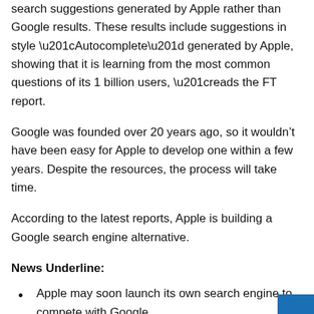search suggestions generated by Apple rather than Google results. These results include suggestions in style “Autocomplete” generated by Apple, showing that it is learning from the most common questions of its 1 billion users, “reads the FT report.
Google was founded over 20 years ago, so it wouldn’t have been easy for Apple to develop one within a few years. Despite the resources, the process will take time.
According to the latest reports, Apple is building a Google search engine alternative.
News Underline:
Apple may soon launch its own search engine to compete with Google.